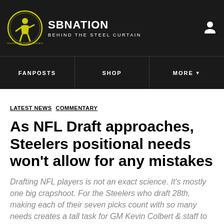SBNATION | BEHIND THE STEEL CURTAIN
FANPOSTS | SHOP | MORE
LATEST NEWS  COMMENTARY
As NFL Draft approaches, Steelers positional needs won't allow for any mistakes
Drafting NFL players is not an exact science. It's mostly one big crapshot. For the Steelers who draft 28th, making each of their seven picks count with so many needs creates a tall task for GM Kevin Colbert & staff to get it right